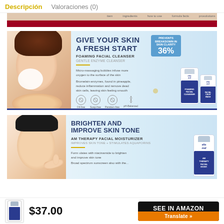Descripción   Valoraciones (0)
[Figure (photo): Partial top banner of an e-commerce product page with skin-toned background and dark red/crimson bar]
[Figure (photo): EltaMD Foaming Facial Cleanser product banner. Shows woman with foam on face, text: GIVE YOUR SKIN A FRESH START, FOAMING FACIAL CLEANSER, GENTLE ENZYME CLEANSER, PREVENTS 36%, with product bottles. Icons: Oil-free, Soap-free, Paraben-free, pH-Balanced.]
[Figure (photo): EltaMD AM Therapy Facial Moisturizer banner. Shows woman touching face, text: BRIGHTEN AND IMPROVE SKIN TONE, AM THERAPY FACIAL MOISTURIZER, IMPROVES SKIN TONE + STIMULATES AQUAPORINS, with product bottle.]
$37.00
SEE IN AMAZON
Translate »